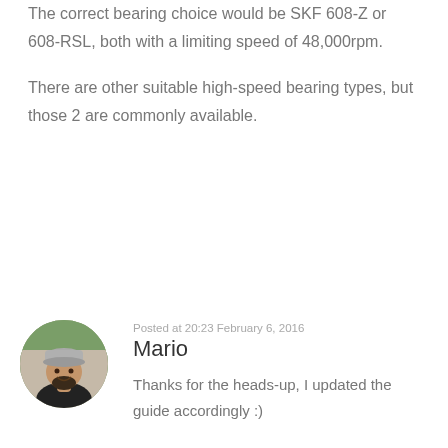The correct bearing choice would be SKF 608-Z or 608-RSL, both with a limiting speed of 48,000rpm.

There are other suitable high-speed bearing types, but those 2 are commonly available.
Posted at 20:23 February 6, 2016
Mario
[Figure (photo): Circular avatar photo of a bearded man wearing a grey beanie hat, outdoors with trees in the background.]
Thanks for the heads-up, I updated the guide accordingly :)